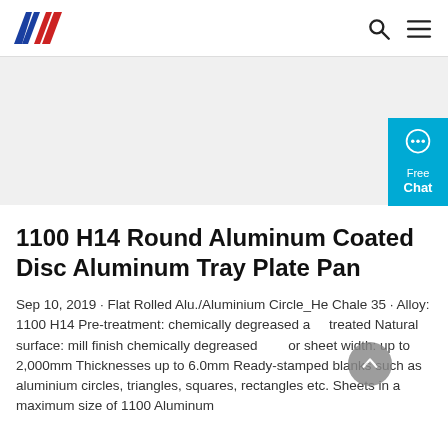AW logo, search icon, menu icon
[Figure (other): Gray placeholder image area]
[Figure (other): Cyan chat widget with speech bubble icon, text: Free Chat]
1100 H14 Round Aluminum Coated Disc Aluminum Tray Plate Pan
Sep 10, 2019 · Flat Rolled Alu./Aluminium Circle_He Chale 35 · Alloy: 1100 H14 Pre-treatment: chemically degreased and treated Natural surface: mill finish chemically degreased or sheet width: up to 2,000mm Thicknesses up to 6.0mm Ready-stamped blanks such as aluminium circles, triangles, squares, rectangles etc. Sheets in a maximum size of 1100 Aluminum